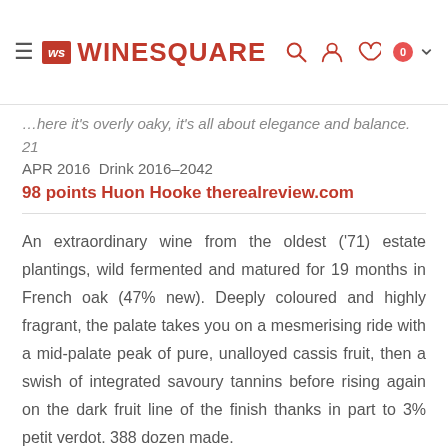WineSquare
...here it's overly oaky, it's all about elegance and balance. 21 APR 2016 Drink 2016–2042
98 points Huon Hooke therealreview.com
An extraordinary wine from the oldest ('71) estate plantings, wild fermented and matured for 19 months in French oak (47% new). Deeply coloured and highly fragrant, the palate takes you on a mesmerising ride with a mid-palate peak of pure, unalloyed cassis fruit, then a swish of integrated savoury tannins before rising again on the dark fruit line of the finish thanks in part to 3% petit verdot. 388 dozen made.
99 points James Halliday winecompanion.com.au